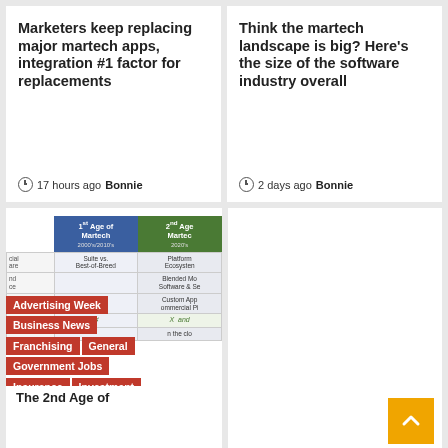Marketers keep replacing major martech apps, integration #1 factor for replacements
17 hours ago  Bonnie
Think the martech landscape is big? Here’s the size of the software industry overall
2 days ago  Bonnie
[Figure (table-as-image): Table showing 1st Age of Martech (2000s/2010s) and 2nd Age of Martech (2020s) with rows for Suite vs. Best-of-Breed/Platform Ecosystem, Bundled Model Software & Services, Build vs./Custom App Commercial Pi]
Advertising Week
Business News
Franchising
General
Government Jobs
Insurance
Investment
The 2nd Age of